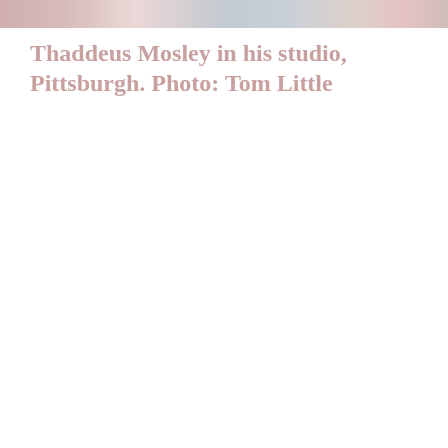[Figure (photo): A faded/washed-out photograph strip at the top of the page showing what appears to be a person in a studio setting in Pittsburgh. The image is very light and mostly white.]
Thaddeus Mosley in his studio, Pittsburgh. Photo: Tom Little